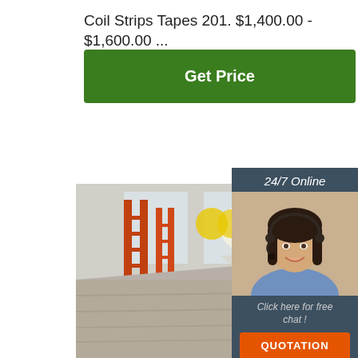Coil Strips Tapes 201. $1,400.00 - $1,600.00 ...
Get Price
[Figure (photo): Industrial warehouse scene with stacked steel plates in the foreground, orange metal scaffolding/ladders, colorful pipe structures in background, taken in a steel manufacturing facility]
24/7 Online
[Figure (photo): Female customer service agent with headset, smiling, wearing blue shirt, dark hair]
Click here for free chat !
QUOTATION
[Figure (logo): TOP logo with orange dot pattern above the word TOP in orange text]